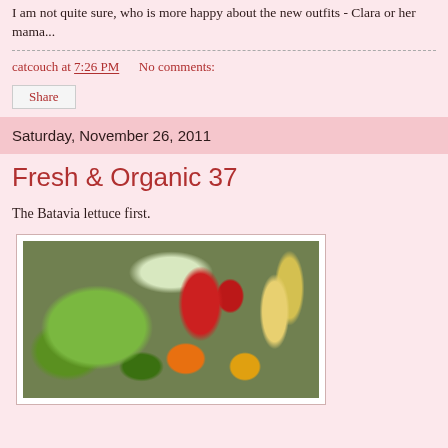I am not quite sure, who is more happy about the new outfits - Clara or her mama...
catcouch at 7:26 PM    No comments:
Share
Saturday, November 26, 2011
Fresh & Organic 37
The Batavia lettuce first.
[Figure (photo): A close-up photo of Batavia lettuce in a plastic bag along with various vegetables and fruits including red peppers, cucumber, bananas, and oranges in the background.]